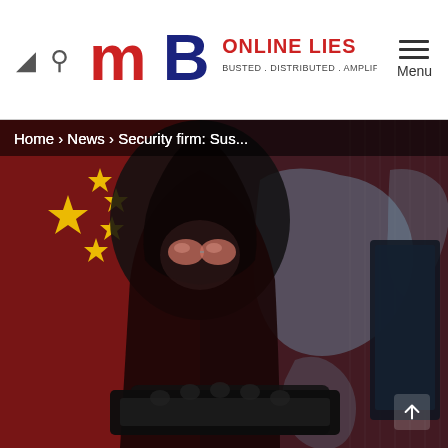MB Online Lies — Busted. Distributed. Amplified.
Home › News › Security firm: Sus...
[Figure (photo): A hooded hacker figure with reflective glasses overlaid on a Chinese flag and a world map silhouette, typing on a laptop in a dark setting.]